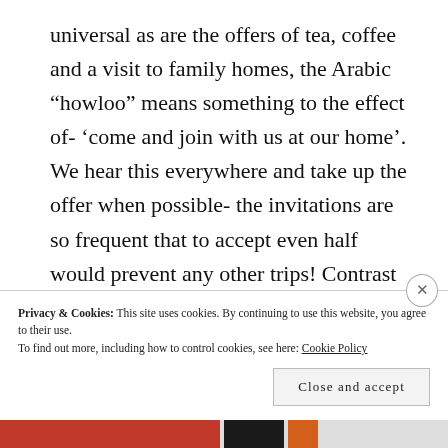universal as are the offers of tea, coffee and a visit to family homes, the Arabic “howloo” means something to the effect of- ‘come and join with us at our home’. We hear this everywhere and take up the offer when possible- the invitations are so frequent that to accept even half would prevent any other trips! Contrast this with our prevarications in Europe on whether to welcome refugees and it is for me a source of deep shame which exposes deep flaws in our culture which seems more selfish and individualistic than I had ever
Privacy & Cookies: This site uses cookies. By continuing to use this website, you agree to their use.
To find out more, including how to control cookies, see here: Cookie Policy
Close and accept